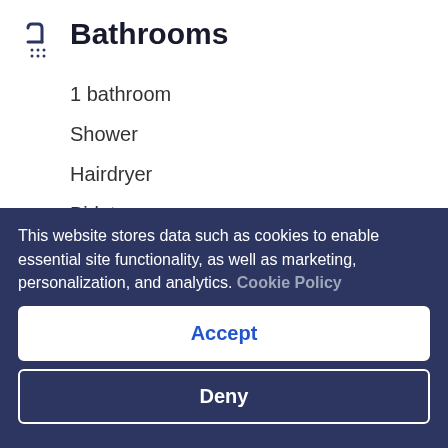Bathrooms
1 bathroom
Shower
Hairdryer
Bidet
Towels provided
Living spaces
Dining room
Entertainment
This website stores data such as cookies to enable essential site functionality, as well as marketing, personalization, and analytics. Cookie Policy
Accept
Deny